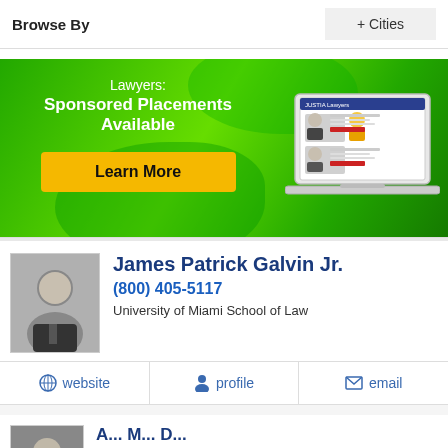Browse By    + Cities
[Figure (infographic): Green gradient advertisement banner for Justia Lawyers with text 'Lawyers: Sponsored Placements Available', a yellow 'Learn More' button, and an illustration of a laptop showing the Justia Lawyers website.]
James Patrick Galvin Jr.
(800) 405-5117
University of Miami School of Law
website   profile   email
[Figure (photo): Partial view of another lawyer profile at the bottom of the page, mostly cut off.]